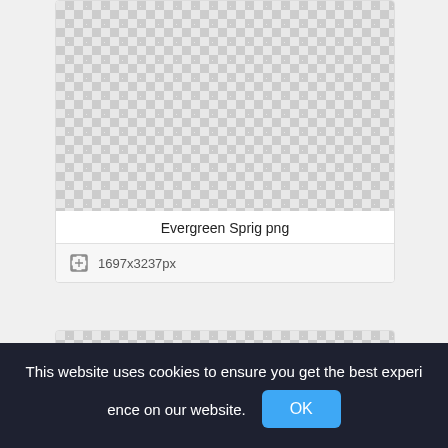[Figure (screenshot): Checkerboard transparency pattern representing a PNG image area for 'Evergreen Sprig png']
Evergreen Sprig png
1697x3237px
[Figure (screenshot): Checkerboard transparency pattern representing a second PNG image preview area]
This website uses cookies to ensure you get the best experience on our website.